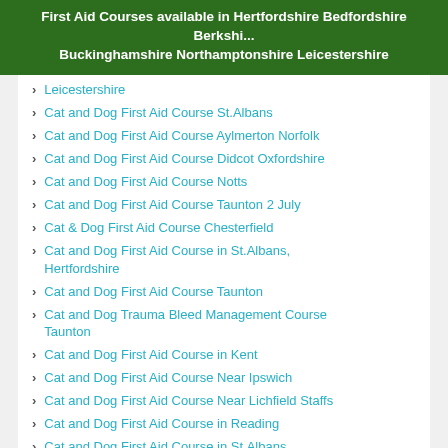First Aid Courses available in Hertfordshire Bedfordshire Berkshire Buckinghamshire Northamptonshire Leicestershire
Leicestershire
Cat and Dog First Aid Course St.Albans
Cat and Dog First Aid Course Aylmerton Norfolk
Cat and Dog First Aid Course Didcot Oxfordshire
Cat and Dog First Aid Course Notts
Cat and Dog First Aid Course Taunton 2 July
Cat & Dog First Aid Course Chesterfield
Cat and Dog First Aid Course in St.Albans, Hertfordshire
Cat and Dog First Aid Course Taunton
Cat and Dog Trauma Bleed Management Course Taunton
Cat and Dog First Aid Course in Kent
Cat and Dog First Aid Course Near Ipswich
Cat and Dog First Aid Course Near Lichfield Staffs
Cat and Dog First Aid Course in Reading
Cat and Dog First Aid Course in St.Albans, Hertfordshire